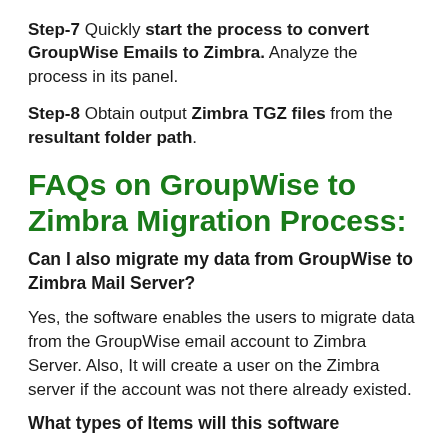Step-7 Quickly start the process to convert GroupWise Emails to Zimbra. Analyze the process in its panel.
Step-8 Obtain output Zimbra TGZ files from the resultant folder path.
FAQs on GroupWise to Zimbra Migration Process:
Can I also migrate my data from GroupWise to Zimbra Mail Server?
Yes, the software enables the users to migrate data from the GroupWise email account to Zimbra Server. Also, It will create a user on the Zimbra server if the account was not there already existed.
What types of Items will this software